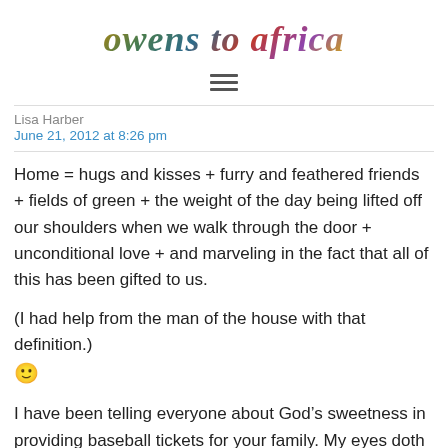[Figure (logo): Decorative script logo reading 'owens to africa' in multicolored gradient lettering]
[Figure (other): Hamburger menu icon (three horizontal lines)]
Lisa Harber
June 21, 2012 at 8:26 pm
Home = hugs and kisses + furry and feathered friends + fields of green + the weight of the day being lifted off our shoulders when we walk through the door + unconditional love + and marveling in the fact that all of this has been gifted to us.
(I had help from the man of the house with that definition.) 🙂
I have been telling everyone about God’s sweetness in providing baseball tickets for your family. My eyes doth well up at his provision of those things we not only need,